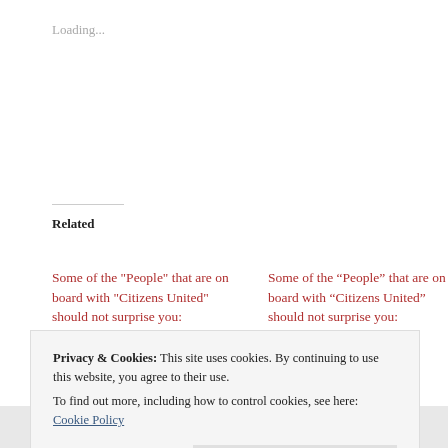Loading...
Related
Some of the "People" that are on board with "Citizens United" should not surprise you:
January 26, 2010
In "ann coulter"
Some of the “People” that are on board with “Citizens United” should not surprise you:
January 26, 2010
In "ann coulter"
McCain and (gulp!) Gingrich blast RNC for trying to tie Obama to Blagojevich
Privacy & Cookies:  This site uses cookies. By continuing to use this website, you agree to their use.
To find out more, including how to control cookies, see here: Cookie Policy
Close and accept